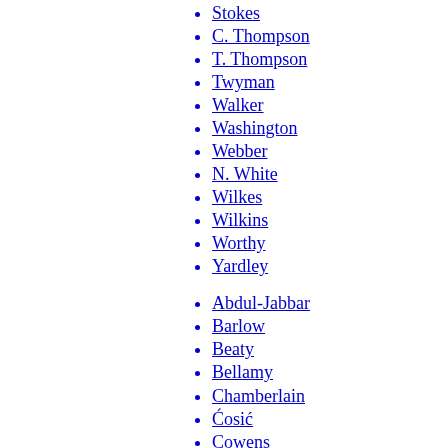Stokes
C. Thompson
T. Thompson
Twyman
Walker
Washington
Webber
N. White
Wilkes
Wilkins
Worthy
Yardley
Abdul-Jabbar
Barlow
Beaty
Bellamy
Chamberlain
Ćosić
Cowens
Crawford
Daniels
DeBernardi
Divac
Donovan